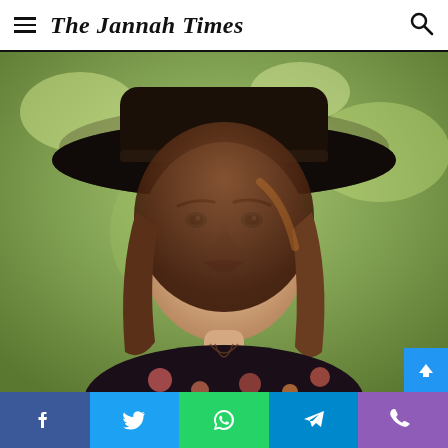The Jannah Times
[Figure (photo): A young woman wearing a wide-brimmed black hat and a dark floral dress, photographed outdoors with a blurred green background. She has brown wavy hair and light eyes, looking directly at the camera.]
Social share bar: Facebook, Twitter, WhatsApp, Telegram, Viber